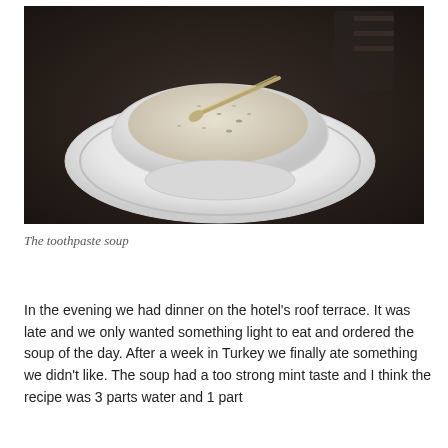[Figure (photo): A white ceramic soup bowl on a white plate sitting on a dark table, containing a creamy pale soup with green herb flecks and a metal spoon resting in it.]
The toothpaste soup
In the evening we had dinner on the hotel's roof terrace. It was late and we only wanted something light to eat and ordered the soup of the day. After a week in Turkey we finally ate something we didn't like. The soup had a too strong mint taste and I think the recipe was 3 parts water and 1 part Colgate toothpaste... ☹